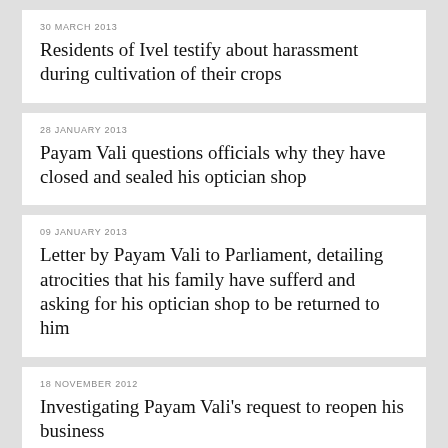30 MARCH 2013
Residents of Ivel testify about harassment during cultivation of their crops
28 JANUARY 2013
Payam Vali questions officials why they have closed and sealed his optician shop
09 JANUARY 2013
Letter by Payam Vali to Parliament, detailing atrocities that his family have sufferd and asking for his optician shop to be returned to him
18 NOVEMBER 2012
Investigating Payam Vali's request to reopen his business